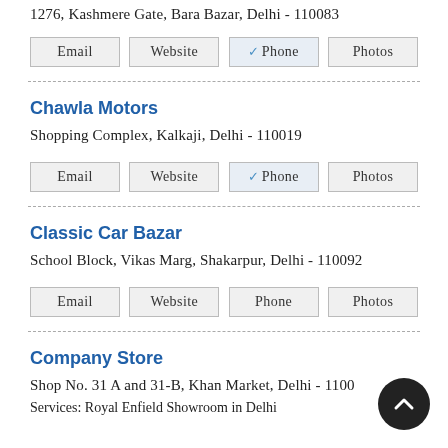1276, Kashmere Gate, Bara Bazar, Delhi - 110083
Email  Website  ✓ Phone  Photos
Chawla Motors
Shopping Complex, Kalkaji, Delhi - 110019
Email  Website  ✓ Phone  Photos
Classic Car Bazar
School Block, Vikas Marg, Shakarpur, Delhi - 110092
Email  Website  Phone  Photos
Company Store
Shop No. 31 A and 31-B, Khan Market, Delhi - 1100...
Services: Royal Enfield Showroom in Delhi